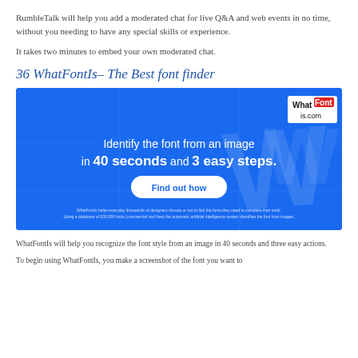RumbleTalk will help you add a moderated chat for live Q&A and web events in no time, without you needing to have any special skills or experience.
It takes two minutes to embed your own moderated chat.
36 WhatFontIs– The Best font finder
[Figure (screenshot): WhatFontIs advertisement banner on a blue background. Shows 'WhatFont is.com' logo in top right, text 'Identify the font from an image in 40 seconds and 3 easy steps.' with a 'Find out how' button. Small print at bottom mentions WhatFontIs helps designers find fonts.]
WhatFontIs will help you recognize the font style from an image in 40 seconds and three easy actions.
To begin using WhatFontIs, you make a screenshot of the font you want to